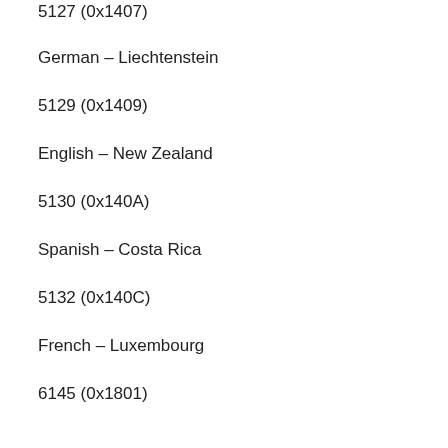5127 (0x1407)
German – Liechtenstein
5129 (0x1409)
English – New Zealand
5130 (0x140A)
Spanish – Costa Rica
5132 (0x140C)
French – Luxembourg
6145 (0x1801)
Arabic – Morocco
6153 (0x1809)